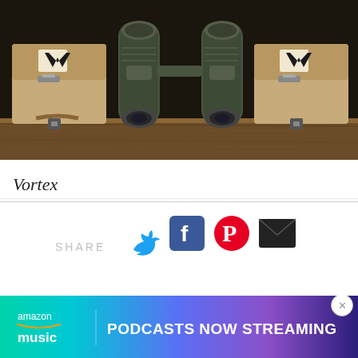[Figure (photo): Photo of two dark green Vortex binoculars standing upright between two tan/khaki Vortex branded carrying cases on a wooden shelf. The Vortex logo (stylized V with a cross) is visible on the cases.]
Vortex
[Figure (infographic): Share section with social media icons: Twitter (blue bird), Facebook (blue F), Pinterest (red circle P), and email (black envelope). Label 'SHARE' in light gray text to the left.]
[Figure (infographic): Amazon Music advertisement banner with gradient background (teal to purple). Shows 'amazon music' logo with smiling arrow and text 'PODCASTS NOW STREAMING' in bold white capital letters. Close button (X) in top right corner.]